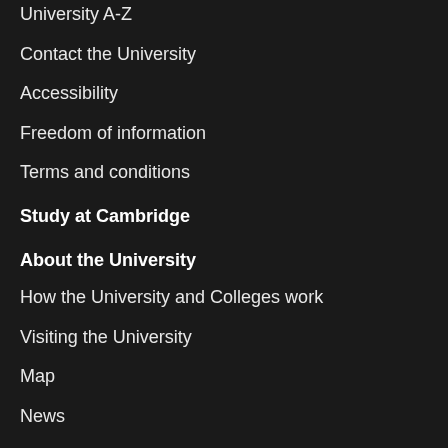University A-Z
Contact the University
Accessibility
Freedom of information
Terms and conditions
Study at Cambridge
About the University
How the University and Colleges work
Visiting the University
Map
News
Events